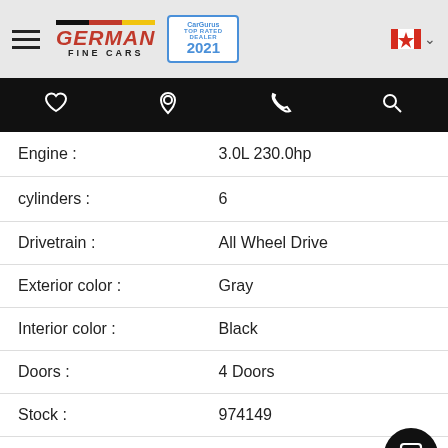German Fine Cars — CarGurus Top Rated Dealer 2021
| Attribute | Value |
| --- | --- |
| Engine : | 3.0L 230.0hp |
| cylinders : | 6 |
| Drivetrain : | All Wheel Drive |
| Exterior color : | Gray |
| Interior color : | Black |
| Doors : | 4 Doors |
| Stock : | 974149 |
| Fuel Type : | Gasoline |